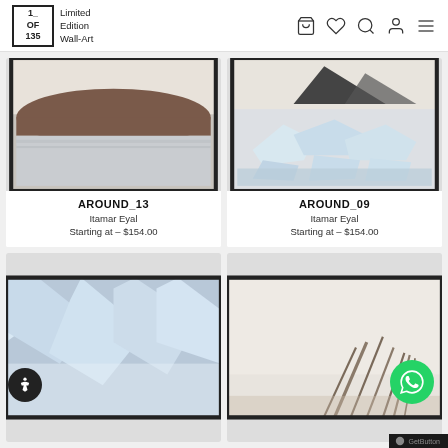1_OF_135 Limited Edition Wall-Art
[Figure (photo): AROUND_13 landscape photo showing mountain reflection on water in a framed print]
AROUND_13
Itamar Eyal
Starting at – $154.00
[Figure (photo): AROUND_09 photo showing icebergs and glaciers in a framed print]
AROUND_09
Itamar Eyal
Starting at – $154.00
[Figure (photo): Partial view of a snowy mountain/glacier photo in a framed print]
[Figure (photo): Partial view of a misty landscape with driftwood photo in a framed print]